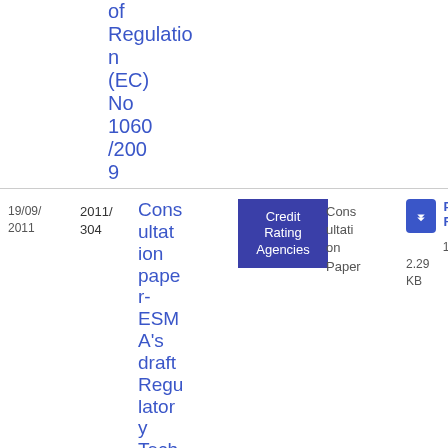of Regulation (EC) No 1060/2009
| Date | Reference | Title | Topic | Type | File |
| --- | --- | --- | --- | --- | --- |
| 19/09/2011 | 2011/304 | Consultation paper- ESMA's draft Regulatory Tech... | Credit Rating Agencies | Consultation Paper | PDF 18 2.29 KB |